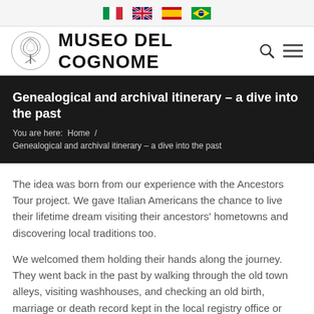Language selector: Italian, English, Spanish, Brazilian Portuguese
[Figure (logo): Museo del Cognome logo with tree illustration in a circle, site title MUSEO DEL COGNOME, search icon, and hamburger menu icon]
Genealogical and archival itinerary – a dive into the past
You are here:  Home  /
Genealogical and archival itinerary – a dive into the past
The idea was born from our experience with the Ancestors Tour project. We gave Italian Americans the chance to live their lifetime dream visiting their ancestors' hometowns and discovering local traditions too.
We welcomed them holding their hands along the journey. They went back in the past by walking through the old town alleys, visiting washhouses, and checking an old birth, marriage or death record kept in the local registry office or parish archive. The ones